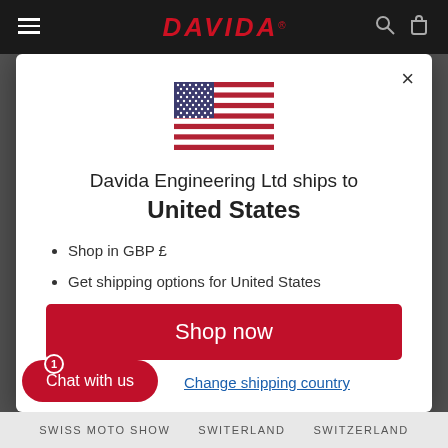DAVIDA (logo)
[Figure (illustration): United States flag emoji/icon, rectangular flag with stars and stripes]
Davida Engineering Ltd ships to United States
Shop in GBP £
Get shipping options for United States
Shop now
Change shipping country
Chat with us
SWISS MOTO SHOW   SWITERLAND   SWITZERLAND